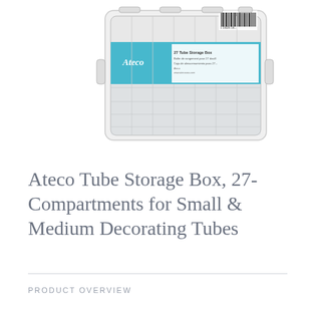[Figure (photo): A clear plastic Ateco 27 Tube Storage Box with a blue label, shown from above at a slight angle. The box has a grid of 27 compartments visible through the transparent lid.]
Ateco Tube Storage Box, 27-Compartments for Small & Medium Decorating Tubes
PRODUCT OVERVIEW